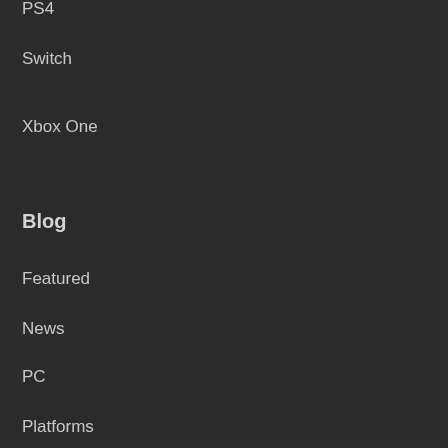PS4
Switch
Xbox One
Blog
Featured
News
PC
Platforms
PS3
PS4
Switch
Wii U
Xbox 360